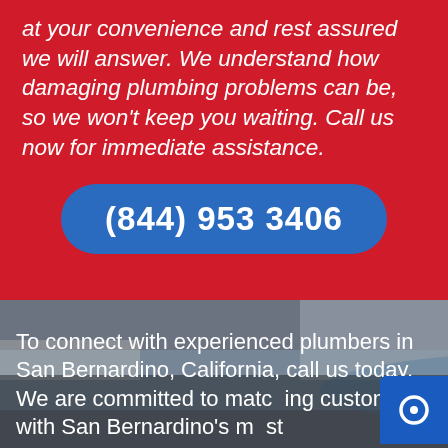at your convenience and rest assured we will answer. We understand how damaging plumbing problems can be, so we won't keep you waiting. Call us now for immediate assistance.
(844) 953 3406
[Figure (photo): Person lying on floor working on plumbing under a sink or fixture, photo with dark overlay]
To connect with experienced plumbers in San Bernardino, California, call us today. We are committed to matching customers with San Bernardino's most